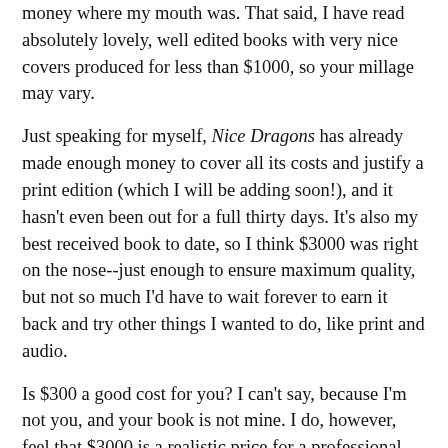money where my mouth was. That said, I have read absolutely lovely, well edited books with very nice covers produced for less than $1000, so your millage may vary.
Just speaking for myself, Nice Dragons has already made enough money to cover all its costs and justify a print edition (which I will be adding soon!), and it hasn't even been out for a full thirty days. It's also my best received book to date, so I think $3000 was right on the nose--just enough to ensure maximum quality, but not so much I'd have to wait forever to earn it back and try other things I wanted to do, like print and audio.
Is $300 a good cost for you? I can't say, because I'm not you, and your book is not mine. I do, however, feel that $3000 is a realistic price for a professional quality self-published book put out by an established author. Again, YMMV, so always be sure to make a budget you can stick to and price out your freelancers first! The KBoards Yellow Pages for Authors is a great place to start.
Thank you as always for reading. I hope you enjoyed the